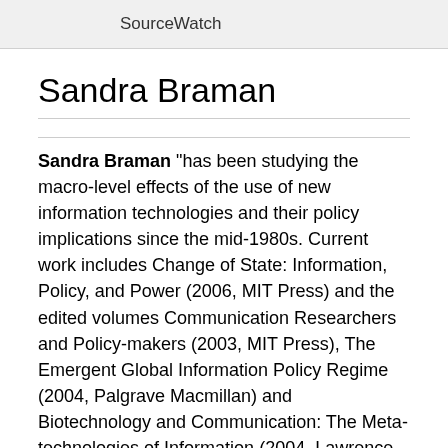SourceWatch
Sandra Braman
Sandra Braman "has been studying the macro-level effects of the use of new information technologies and their policy implications since the mid-1980s. Current work includes Change of State: Information, Policy, and Power (2006, MIT Press) and the edited volumes Communication Researchers and Policy-makers (2003, MIT Press), The Emergent Global Information Policy Regime (2004, Palgrave Macmillan) and Biotechnology and Communication: The Meta-technologies of Information (2004, Lawrence Erlbaum Associates).